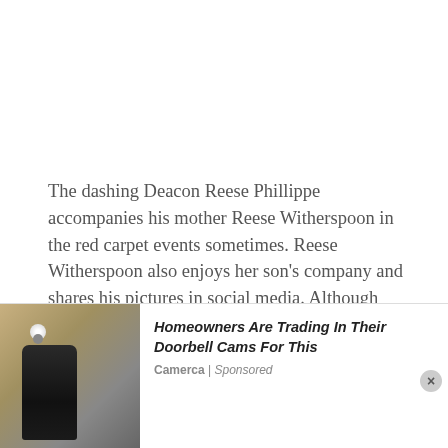The dashing Deacon Reese Phillippe accompanies his mother Reese Witherspoon in the red carpet events sometimes. Reese Witherspoon also enjoys her son's company and shares his pictures in social media. Although Deacon is not that active in social media, he shares pictures of himself enjoying the outdoors.
[Figure (photo): Advertisement banner showing a wall-mounted outdoor security/light fixture on a stone wall background, with ad text: 'Homeowners Are Trading In Their Doorbell Cams For This' by Camerca | Sponsored]